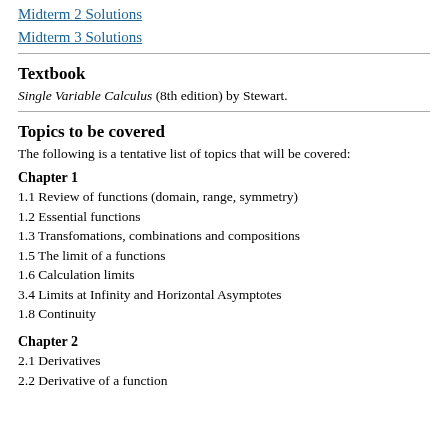Midterm 2 Solutions
Midterm 3 Solutions
Textbook
Single Variable Calculus (8th edition) by Stewart.
Topics to be covered
The following is a tentative list of topics that will be covered:
Chapter 1
1.1 Review of functions (domain, range, symmetry)
1.2 Essential functions
1.3 Transfomations, combinations and compositions
1.5 The limit of a functions
1.6 Calculation limits
3.4 Limits at Infinity and Horizontal Asymptotes
1.8 Continuity
Chapter 2
2.1 Derivatives
2.2 Derivative of a function